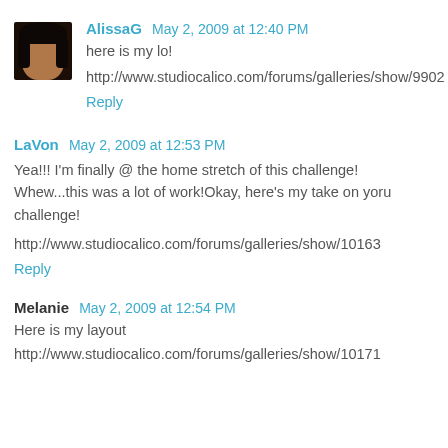[Figure (photo): Small avatar photo of a woman with dark hair]
AlissaG May 2, 2009 at 12:40 PM
here is my lo!
http://www.studiocalico.com/forums/galleries/show/9902
Reply
LaVon May 2, 2009 at 12:53 PM
Yea!!! I'm finally @ the home stretch of this challenge! Whew...this was a lot of work!Okay, here's my take on yoru challenge!
http://www.studiocalico.com/forums/galleries/show/10163
Reply
Melanie May 2, 2009 at 12:54 PM
Here is my layout
http://www.studiocalico.com/forums/galleries/show/10171